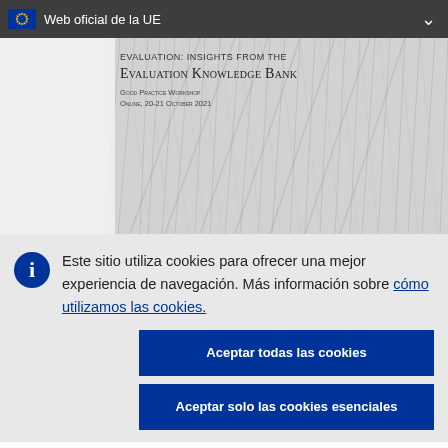Web oficial de la UE
[Figure (screenshot): Cover image of a document titled 'Evaluation: Insights from the Evaluation Knowledge Bank, Good Practice Workshop Online, 20-21 October 2021' with a gray abstract fibrous background.]
Este sitio utiliza cookies para ofrecer una mejor experiencia de navegación. Más información sobre cómo utilizamos las cookies.
Aceptar todas las cookies
Aceptar solo las cookies esenciales